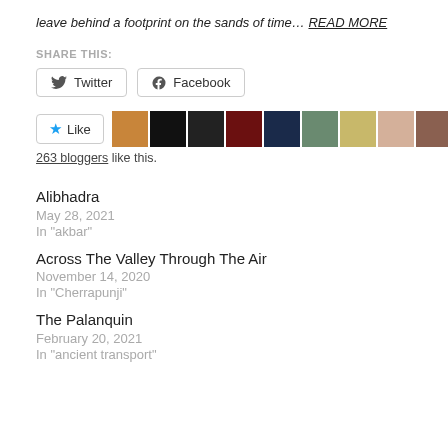leave behind a footprint on the sands of time… READ MORE
SHARE THIS:
[Figure (other): Twitter and Facebook share buttons]
[Figure (other): Like button with star icon and 9 blogger avatar images]
263 bloggers like this.
Alibhadra
May 28, 2021
In "akbar"
Across The Valley Through The Air
November 14, 2020
In "Cherrapunji"
The Palanquin
February 20, 2021
In "ancient transport"